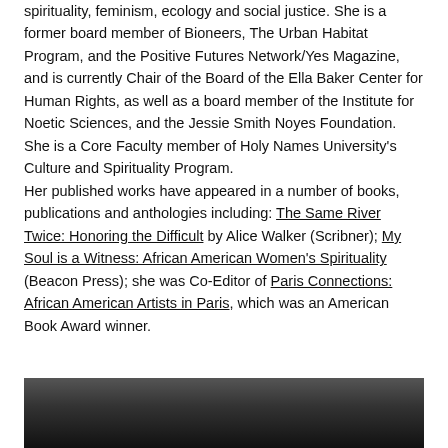spirituality, feminism, ecology and social justice. She is a former board member of Bioneers, The Urban Habitat Program, and the Positive Futures Network/Yes Magazine, and is currently Chair of the Board of the Ella Baker Center for Human Rights, as well as a board member of the Institute for Noetic Sciences, and the Jessie Smith Noyes Foundation. She is a Core Faculty member of Holy Names University's Culture and Spirituality Program.
Her published works have appeared in a number of books, publications and anthologies including: The Same River Twice: Honoring the Difficult by Alice Walker (Scribner); My Soul is a Witness: African American Women's Spirituality (Beacon Press); she was Co-Editor of Paris Connections: African American Artists in Paris, which was an American Book Award winner.
[Figure (photo): Black and white photograph partially visible at the bottom of the page, showing a dark scene.]